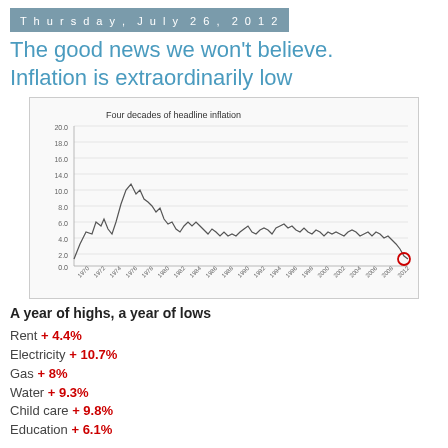Thursday, July 26, 2012
The good news we won't believe. Inflation is extraordinarily low
[Figure (continuous-plot): Line chart showing headline inflation over four decades, with high values in the late 1970s declining over time to a low circled value near 0 around 2012.]
A year of highs, a year of lows
Rent + 4.4%
Electricity + 10.7%
Gas + 8%
Water + 9.3%
Child care + 9.8%
Education + 6.1%